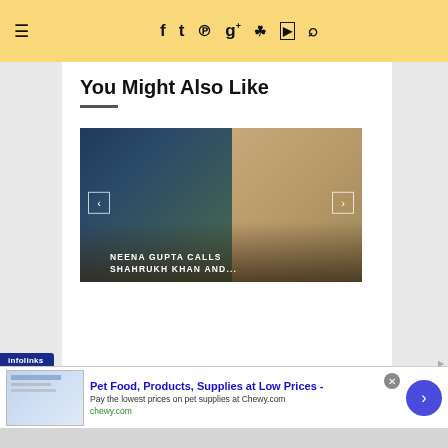≡  f  t  p  g+  [insta]  [yt]  [search]
You Might Also Like
[Figure (photo): Slideshow block showing two Bollywood celebrities on left (two men in dark suits) and a woman in a saree on the right, with overlay text 'NEENA GUPTA CALLS SHAHRUKH KHAN AND...' and left/right navigation arrows]
[Figure (screenshot): Advertisement banner: 'Pet Food, Products, Supplies at Low Prices - Pay the lowest prices on pet supplies at Chewy.com | chewy.com' with infolinks badge, close button, and blue arrow button]